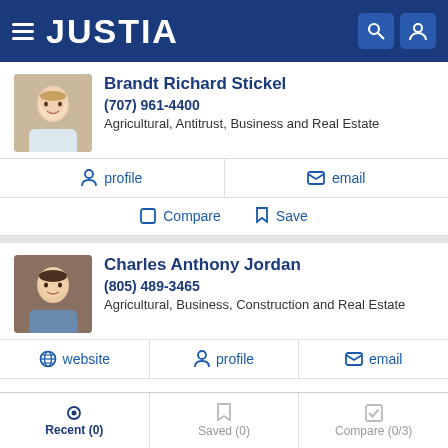JUSTIA
Brandt Richard Stickel
(707) 961-4400
Agricultural, Antitrust, Business and Real Estate
profile
email
Compare
Save
Charles Anthony Jordan
(805) 489-3465
Agricultural, Business, Construction and Real Estate
website
profile
email
Recent (0)  Saved (0)  Compare (0/3)